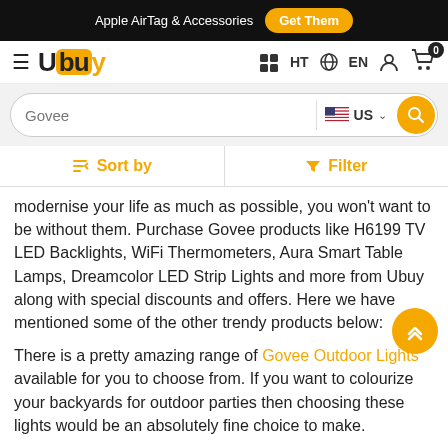Apple AirTag & Accessories  Get Them
Ubuy  HT  EN  [cart: 0]
Govee [search: US]
Sort by   Filter
modernise your life as much as possible, you won't want to be without them. Purchase Govee products like H6199 TV LED Backlights, WiFi Thermometers, Aura Smart Table Lamps, Dreamcolor LED Strip Lights and more from Ubuy along with special discounts and offers. Here we have mentioned some of the other trendy products below:
There is a pretty amazing range of Govee Outdoor Lights available for you to choose from. If you want to colourize your backyards for outdoor parties then choosing these lights would be an absolutely fine choice to make.
RGBIC Strip Lights are one of the latest light displaying technologies. They specialise in displaying multiple colours on